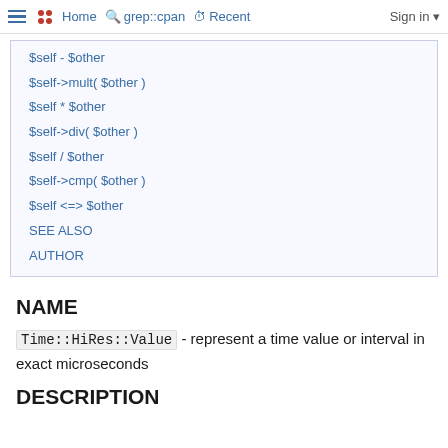≡  •• Home  🔍 grep::cpan  ⏱ Recent  Sign in ▾
$self - $other
$self->mult( $other )
$self * $other
$self->div( $other )
$self / $other
$self->cmp( $other )
$self <=> $other
SEE ALSO
AUTHOR
NAME
Time::HiRes::Value - represent a time value or interval in exact microseconds
DESCRIPTION